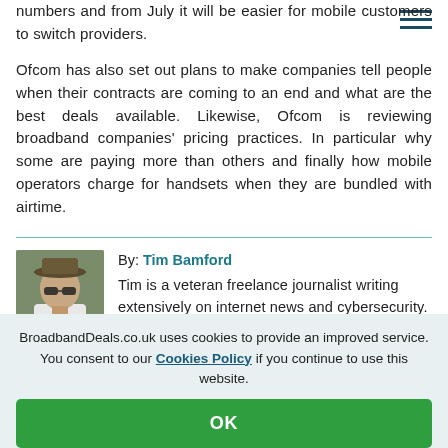numbers and from July it will be easier for mobile customers to switch providers.
Ofcom has also set out plans to make companies tell people when their contracts are coming to an end and what are the best deals available. Likewise, Ofcom is reviewing broadband companies' pricing practices. In particular why some are paying more than others and finally how mobile operators charge for handsets when they are bundled with airtime.
[Figure (photo): Author photo of Tim Bamford, a man wearing a hat and sunglasses, in an outdoor setting]
By: Tim Bamford
Tim is a veteran freelance journalist writing extensively on internet news and cybersecurity.
BroadbandDeals.co.uk uses cookies to provide an improved service. You consent to our Cookies Policy if you continue to use this website.